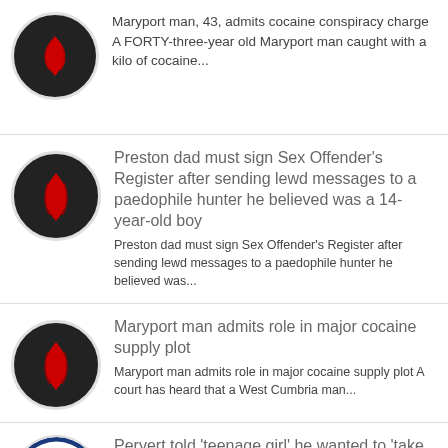[Figure (logo): Dark circle icon with red flame logo, partially visible]
Maryport man, 43, admits cocaine conspiracy charge A FORTY-three-year old Maryport man caught with a kilo of cocaine...
[Figure (logo): Dark circle icon with red flame logo]
Preston dad must sign Sex Offender's Register after sending lewd messages to a paedophile hunter he believed was a 14-year-old boy
Preston dad must sign Sex Offender's Register after sending lewd messages to a paedophile hunter he believed was...
[Figure (logo): Dark circle icon with red flame logo]
Maryport man admits role in major cocaine supply plot
Maryport man admits role in major cocaine supply plot A court has heard that a West Cumbria man...
[Figure (logo): Liverpool Echo circular logo with red and blue]
Pervert told 'teenage girl' he wanted to 'take her top off' and asked to feel her legs